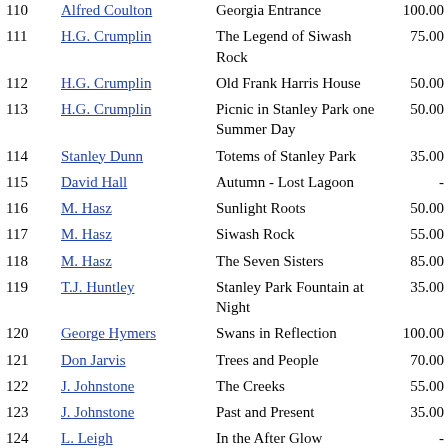| # | Artist | Title | Price |
| --- | --- | --- | --- |
| 110 | Alfred Coulton | Georgia Entrance | 100.00 |
| 111 | H.G. Crumplin | The Legend of Siwash Rock | 75.00 |
| 112 | H.G. Crumplin | Old Frank Harris House | 50.00 |
| 113 | H.G. Crumplin | Picnic in Stanley Park one Summer Day | 50.00 |
| 114 | Stanley Dunn | Totems of Stanley Park | 35.00 |
| 115 | David Hall | Autumn - Lost Lagoon | - |
| 116 | M. Hasz | Sunlight Roots | 50.00 |
| 117 | M. Hasz | Siwash Rock | 55.00 |
| 118 | M. Hasz | The Seven Sisters | 85.00 |
| 119 | T.J. Huntley | Stanley Park Fountain at Night | 35.00 |
| 120 | George Hymers | Swans in Reflection | 100.00 |
| 121 | Don Jarvis | Trees and People | 70.00 |
| 122 | J. Johnstone | The Creeks | 55.00 |
| 123 | J. Johnstone | Past and Present | 35.00 |
| 124 | L. Leigh | In the After Glow | - |
| 125 | L. Leigh | The Indians Dream | - |